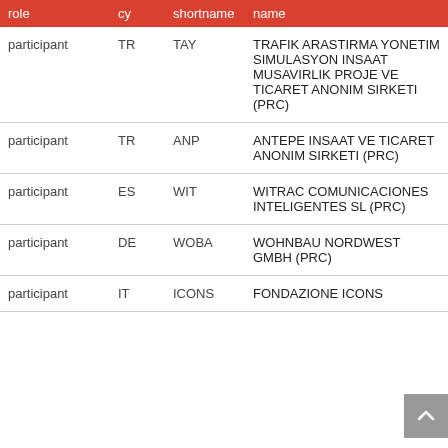| role | cy | shortname | name |
| --- | --- | --- | --- |
| participant | TR | TAY | TRAFIK ARASTIRMA YONETIM SIMULASYON INSAAT MUSAVIRLIK PROJE VE TICARET ANONIM SIRKETI (PRC) |
| participant | TR | ANP | ANTEPE INSAAT VE TICARET ANONIM SIRKETI (PRC) |
| participant | ES | WIT | WITRAC COMUNICACIONES INTELIGENTES SL (PRC) |
| participant | DE | WOBA | WOHNBAU NORDWEST GMBH (PRC) |
| participant | IT | ICONS | FONDAZIONE ICONS |